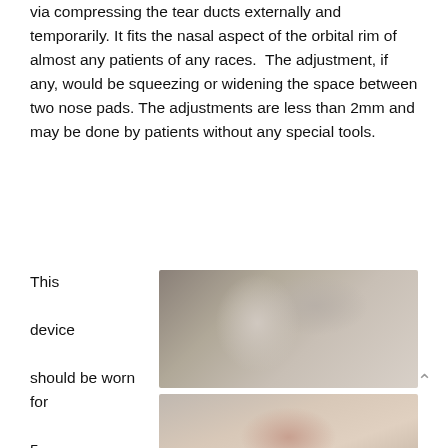via compressing the tear ducts externally and temporarily. It fits the nasal aspect of the orbital rim of almost any patients of any races.  The adjustment, if any, would be squeezing or widening the space between two nose pads. The adjustments are less than 2mm and may be done by patients without any special tools.
This device should be worn for 5 minutes at a time
[Figure (photo): Elderly patient wearing a nasal tear duct compression device, profile view showing the device fitted on the nose bridge]
[Figure (photo): Elderly patient wearing glasses and the nasal device, partial view]